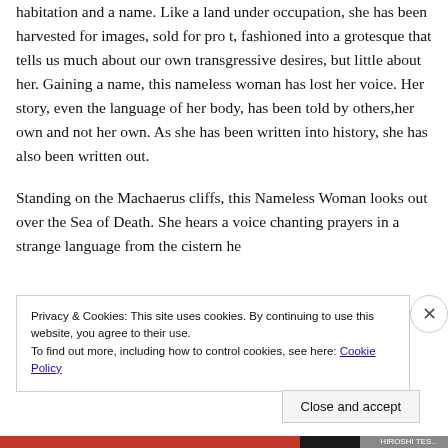habitation and a name. Like a land under occupation, she has been harvested for images, sold for pro t, fashioned into a grotesque that tells us much about our own transgressive desires, but little about her. Gaining a name, this nameless woman has lost her voice. Her story, even the language of her body, has been told by others,her own and not her own. As she has been written into history, she has also been written out.
Standing on the Machaerus cliffs, this Nameless Woman looks out over the Sea of Death. She hears a voice chanting prayers in a strange language from the cistern he
Privacy & Cookies: This site uses cookies. By continuing to use this website, you agree to their use.
To find out more, including how to control cookies, see here: Cookie Policy